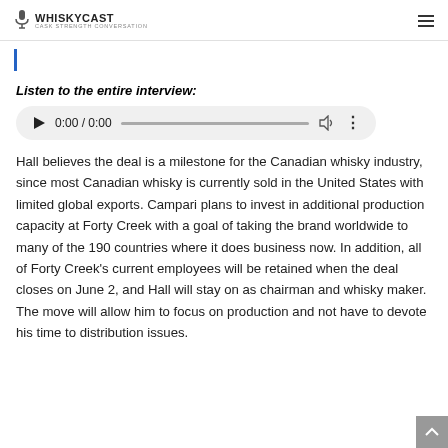WhiskyCast — Cask Strength Conversation
Listen to the entire interview:
[Figure (other): Audio player widget showing 0:00 / 0:00 with play button, progress bar, volume control, and options menu]
Hall believes the deal is a milestone for the Canadian whisky industry, since most Canadian whisky is currently sold in the United States with limited global exports. Campari plans to invest in additional production capacity at Forty Creek with a goal of taking the brand worldwide to many of the 190 countries where it does business now. In addition, all of Forty Creek's current employees will be retained when the deal closes on June 2, and Hall will stay on as chairman and whisky maker. The move will allow him to focus on production and not have to devote his time to distribution issues.